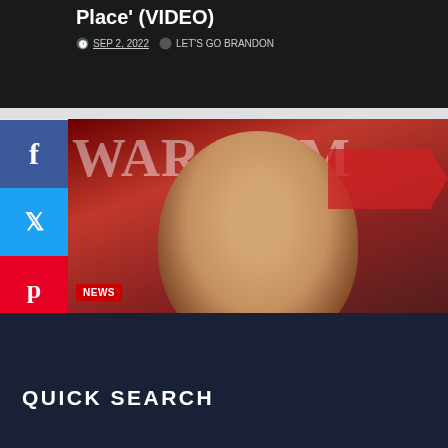[Figure (screenshot): Top partial article card with dark background showing title and metadata: SEP 2, 2022 and LET'S GO BRANDON]
Place' (VIDEO)
SEP 2, 2022   LET'S GO BRANDON
[Figure (photo): Steve Bannon on War Room set with red arrow background and his face visible]
NEWS
Steve Bannon Swatted at DC Home for Second Time
SEP 2, 2022   LET'S GO BRANDON
FOLLOW US ON SOCIAL MEDIA
GETTR: @RealAmVoice | GETTR @WarRoom
QUICK SEARCH